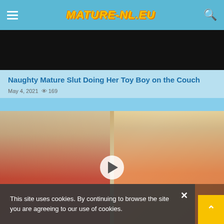MATURE-NL.EU
[Figure (screenshot): Dark/black image area at top of page content]
Naughty Mature Slut Doing Her Toy Boy on the Couch
May 4, 2021  👁 169
[Figure (photo): Video thumbnail showing two people, with a play button overlay in the center]
This site uses cookies. By continuing to browse the site you are agreeing to our use of cookies.